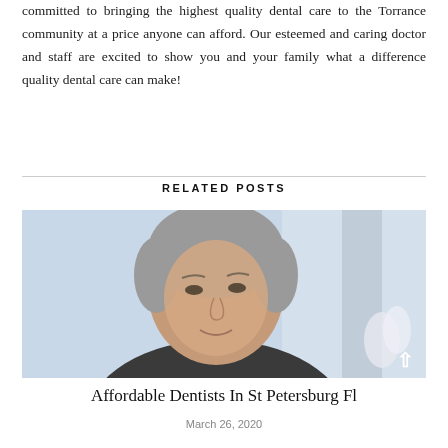committed to bringing the highest quality dental care to the Torrance community at a price anyone can afford. Our esteemed and caring doctor and staff are excited to show you and your family what a difference quality dental care can make!
RELATED POSTS
[Figure (photo): Close-up photo of an elderly woman with short gray hair, looking slightly upward, with a blurred light background]
Affordable Dentists In St Petersburg Fl
March 26, 2020